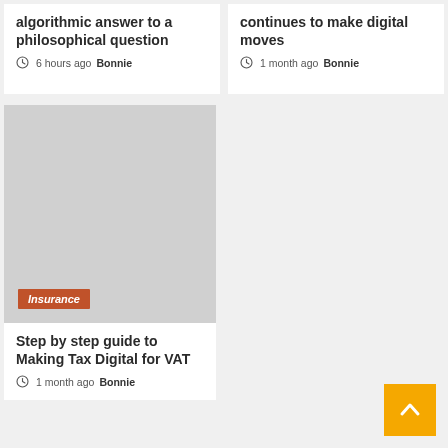algorithmic answer to a philosophical question
6 hours ago  Bonnie
continues to make digital moves
1 month ago  Bonnie
[Figure (photo): Gray placeholder image with Insurance category tag]
Insurance
Step by step guide to Making Tax Digital for VAT
1 month ago  Bonnie